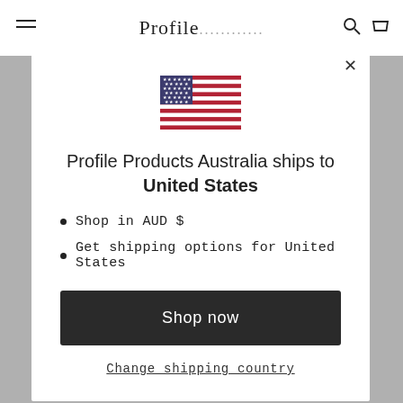Profile
[Figure (illustration): US flag emoji/icon centered in modal]
Profile Products Australia ships to United States
Shop in AUD $
Get shipping options for United States
Shop now
Change shipping country